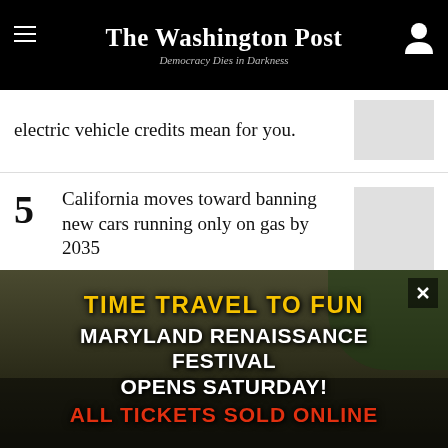The Washington Post — Democracy Dies in Darkness
electric vehicle credits mean for you.
5 California moves toward banning new cars running only on gas by 2035
[Figure (other): Newsletter promo image: piggy bank on green background]
NEWSLETTER  WEDNESDAYS
Personal Finance
Retirement advice from our dedicated...
[Figure (photo): Maryland Renaissance Festival advertisement overlay. Yellow text: TIME TRAVEL TO FUN. White text: MARYLAND RENAISSANCE FESTIVAL OPENS SATURDAY! Red text: ALL TICKETS SOLD ONLINE. Background shows festival scene with costumed people.]